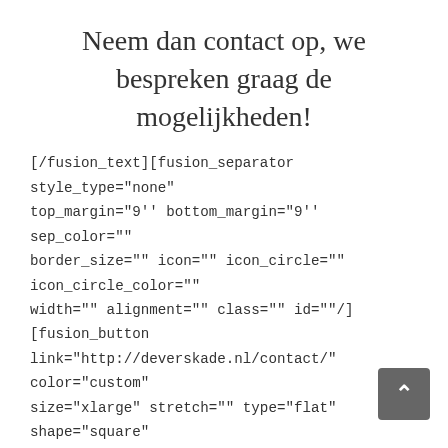Neem dan contact op, we bespreken graag de mogelijkheden!
[/fusion_text][fusion_separator style_type="none" top_margin="9" bottom_margin="9" sep_color="" border_size="" icon="" icon_circle="" icon_circle_color="" width="" alignment="" class="" id=""/][fusion_button link="http://deverskade.nl/contact/" color="custom" size="xlarge" stretch="" type="flat" shape="square" target="_self" title="" gradient_colors="#ba5055|#ba5055" gradient_hover_colors="#d75057|#d75057" accent_color="#ffffff" accent_hover_color="#ffffff" bevel_color="" border_width="1px" icon="" icon_position="left" icon_divider="no" modal="" animation_type="0" animation_direction="left" animation_speed="1" animation_offset=""